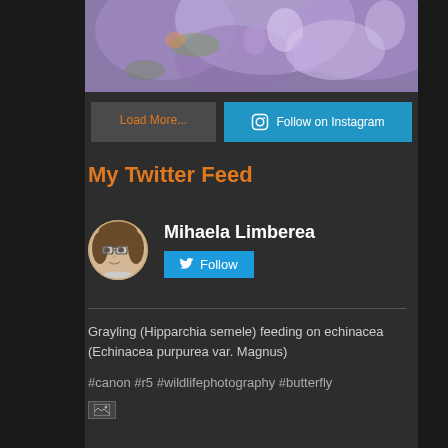[Figure (photo): Purple/lavender flowers close-up photo, partially visible at top]
Load More...
Follow on Instagram
My Twitter Feed
[Figure (photo): Circular profile photo of a woman with glasses]
Mihaela Limberea
Follow
Grayling (Hipparchia semele) feeding on echinacea (Echinacea purpurea var. Magnus)
#canon #r5 #wildlifephotography #butterfly